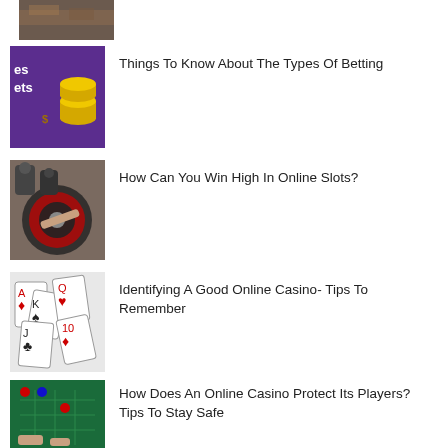[Figure (photo): Partial casino/betting scene image cropped at top]
Things To Know About The Types Of Betting
[Figure (photo): Purple background with text 'es ets' and gold coin stacks]
How Can You Win High In Online Slots?
[Figure (photo): People around roulette table]
Identifying A Good Online Casino- Tips To Remember
[Figure (photo): Playing cards spread out face up]
How Does An Online Casino Protect Its Players? Tips To Stay Safe
[Figure (photo): Casino table with chips and green felt]
[Figure (photo): Partially visible image at bottom of page]